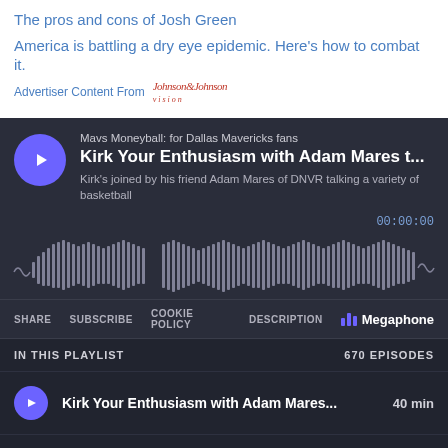The pros and cons of Josh Green
America is battling a dry eye epidemic. Here’s how to combat it.
Advertiser Content From  Johnson&Johnson
[Figure (screenshot): Podcast player widget for 'Mavs Moneyball: for Dallas Mavericks fans' showing episode 'Kirk Your Enthusiasm with Adam Mares t...' with waveform, time 00:00:00, controls (Share, Subscribe, Cookie Policy, Description), Megaphone branding]
IN THIS PLAYLIST    670 EPISODES
Kirk Your Enthusiasm with Adam Mares...  40 min
Mavs Party! EuroBasket is upon us!    35 min